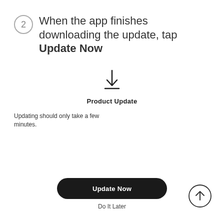2  When the app finishes downloading the update, tap Update Now
[Figure (screenshot): Mobile app screen showing a download icon (arrow pointing down with a line underneath), the label 'Product Update', and text 'Updating should only take a few minutes.' Below is a dark rounded button labeled 'Update Now' and a 'Do It Later' link.]
Do It Later